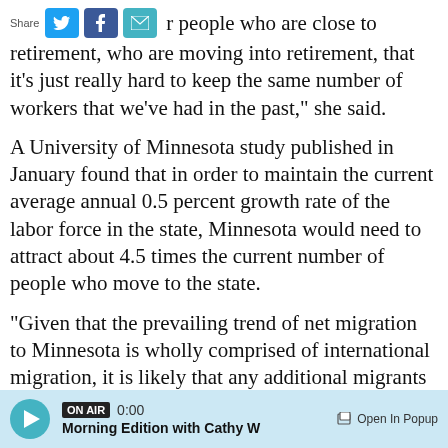Share [Twitter] [Facebook] [Email] r people who are close to retirement, who are moving into retirement, that it's just really hard to keep the same number of workers that we've had in the past," she said.
A University of Minnesota study published in January found that in order to maintain the current average annual 0.5 percent growth rate of the labor force in the state, Minnesota would need to attract about 4.5 times the current number of people who move to the state.
"Given that the prevailing trend of net migration to Minnesota is wholly comprised of international migration, it is likely that any additional migrants
ON AIR 0:00 Morning Edition with Cathy W  Open In Popup